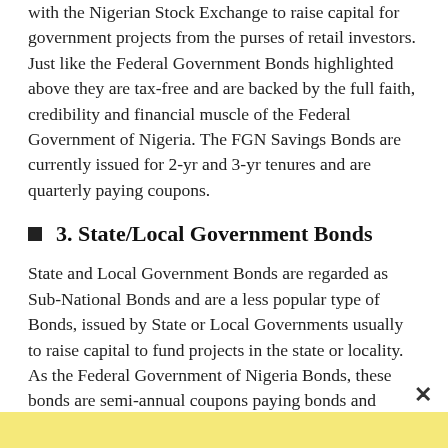with the Nigerian Stock Exchange to raise capital for government projects from the purses of retail investors. Just like the Federal Government Bonds highlighted above they are tax-free and are backed by the full faith, credibility and financial muscle of the Federal Government of Nigeria. The FGN Savings Bonds are currently issued for 2-yr and 3-yr tenures and are quarterly paying coupons.
3. State/Local Government Bonds
State and Local Government Bonds are regarded as Sub-National Bonds and are a less popular type of Bonds, issued by State or Local Governments usually to raise capital to fund projects in the state or locality. As the Federal Government of Nigeria Bonds, these bonds are semi-annual coupons paying bonds and